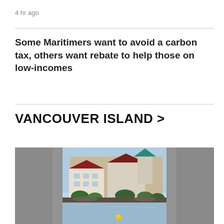4 hr ago
Some Maritimers want to avoid a carbon tax, others want rebate to help those on low-incomes
VANCOUVER ISLAND >
[Figure (photo): Waterfront buildings with red roofs reflected in calm water, blurred grey edges on left and right sides. Source: Orca Spirit Adventures.]